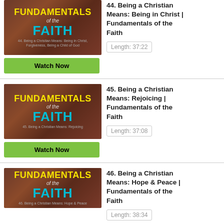[Figure (screenshot): Thumbnail for episode 44: Fundamentals of the Faith - Being a Christian Means: Being in Christ]
Watch Now
44. Being a Christian Means: Being in Christ | Fundamentals of the Faith
Length: 37:22
[Figure (screenshot): Thumbnail for episode 45: Fundamentals of the Faith - Being a Christian Means: Rejoicing]
Watch Now
45. Being a Christian Means: Rejoicing | Fundamentals of the Faith
Length: 37:08
[Figure (screenshot): Thumbnail for episode 46: Fundamentals of the Faith - Being a Christian Means: Hope & Peace]
46. Being a Christian Means: Hope & Peace | Fundamentals of the Faith
Length: 38:34